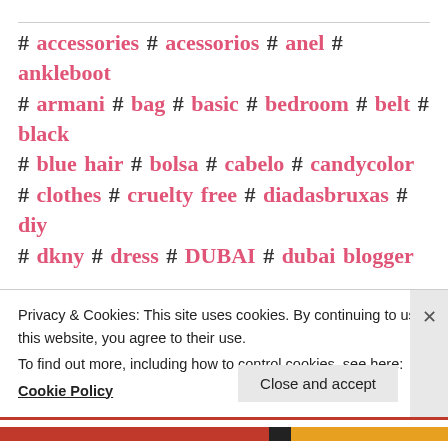# accessories # acessorios # anel # ankleboot # armani # bag # basic # bedroom # belt # black # blue hair # bolsa # cabelo # candycolor # clothes # cruelty free # diadasbruxas # diy # dkny # dress # DUBAI # dubai blogger # dubai bloggers # dubai fashion # dubai life # dubai media # dubai pr # dubai style # dubai vlogger # eastern dress # emporioarmani # estilo # fashion # façavocemesmo # flat # girl # giveaway # hair care # Hair tips # halloween
Privacy & Cookies: This site uses cookies. By continuing to use this website, you agree to their use.
To find out more, including how to control cookies, see here:
Cookie Policy